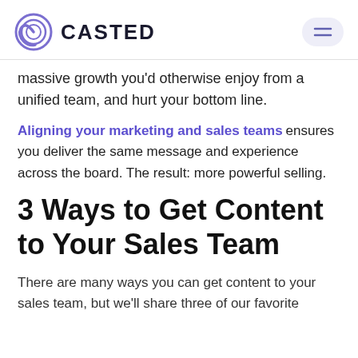CASTED
massive growth you'd otherwise enjoy from a unified team, and hurt your bottom line.
Aligning your marketing and sales teams ensures you deliver the same message and experience across the board. The result: more powerful selling.
3 Ways to Get Content to Your Sales Team
There are many ways you can get content to your sales team, but we'll share three of our favorite